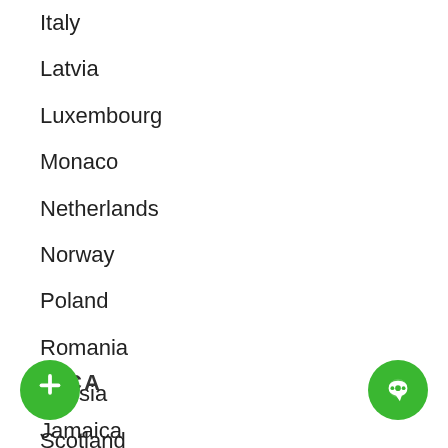Italy
Latvia
Luxembourg
Monaco
Netherlands
Norway
Poland
Romania
Russia
Scotland
Spain
Sweden
Switzerland
United Kingdom
RICA
Jamaica